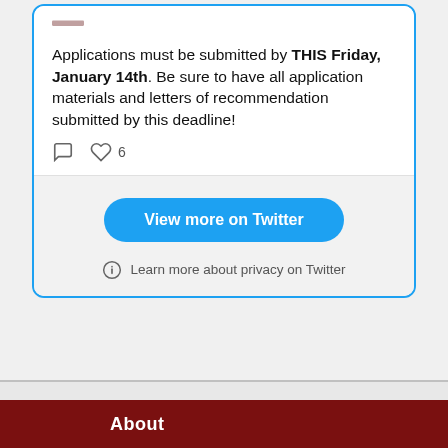[Figure (screenshot): Twitter/social media embed widget showing a tweet about application deadline (THIS Friday, January 14th) with comment and like icons (6 likes), a 'View more on Twitter' blue button, and 'Learn more about privacy on Twitter' link. Below is a dark red footer section with 'About' label.]
Applications must be submitted by THIS Friday, January 14th. Be sure to have all application materials and letters of recommendation submitted by this deadline!
View more on Twitter
Learn more about privacy on Twitter
About